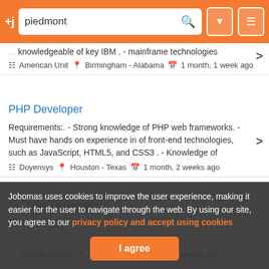+j  [search: piedmont]  [filter] [menu]
knowledgeable of key IBM . - mainframe technologies
American Unit  Birmingham - Alabama  1 month, 1 week ago
PHP Developer
Requirements:. - Strong knowledge of PHP web frameworks. - Must have hands on experience in of front-end technologies, such as JavaScript, HTML5, and CSS3 . - Knowledge of
Doyensys  Houston - Texas  1 month, 2 weeks ago
Sr. Java Developer
Diebold Nixdorf  Columbus  1 month, 2 weeks ago
Jobomas uses cookies to improve the user experience, making it easier for the user to navigate through the web. By using our site, you agree to our privacy policy and accept using cookies